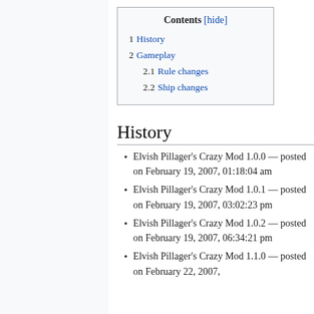| Contents |
| --- |
| 1  History |
| 2  Gameplay |
| 2.1  Rule changes |
| 2.2  Ship changes |
History
Elvish Pillager's Crazy Mod 1.0.0 — posted on February 19, 2007, 01:18:04 am
Elvish Pillager's Crazy Mod 1.0.1 — posted on February 19, 2007, 03:02:23 pm
Elvish Pillager's Crazy Mod 1.0.2 — posted on February 19, 2007, 06:34:21 pm
Elvish Pillager's Crazy Mod 1.1.0 — posted on February 22, 2007,